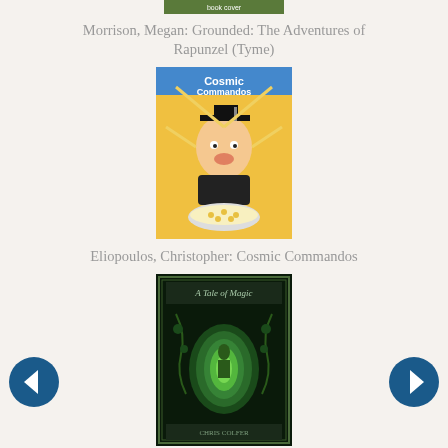[Figure (photo): Partial top of a book cover (Morrison, Megan: Grounded)]
Morrison, Megan: Grounded: The Adventures of Rapunzel (Tyme)
[Figure (photo): Book cover: Cosmic Commandos by Christopher Eliopoulos, cartoon style with character in graduation cap over cereal bowl]
Eliopoulos, Christopher: Cosmic Commandos
[Figure (photo): Book cover: A Tale of Magic by Chris Colfer, dark fantasy style with glowing green portal]
Colfer, Chris: A Tale of Magic...
[Figure (photo): Partial bottom of a book cover (next item)]
[Figure (other): Left navigation arrow button (dark blue circle with left arrow)]
[Figure (other): Right navigation arrow button (dark blue circle with right arrow)]